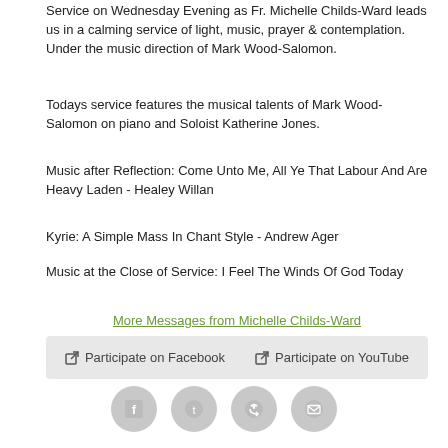Service on Wednesday Evening as Fr. Michelle Childs-Ward leads us in a calming service of light, music, prayer & contemplation. Under the music direction of Mark Wood-Salomon.
Todays service features the musical talents of Mark Wood-Salomon on piano and Soloist Katherine Jones.
Music after Reflection: Come Unto Me, All Ye That Labour And Are Heavy Laden - Healey Willan
Kyrie: A Simple Mass In Chant Style - Andrew Ager
Music at the Close of Service: I Feel The Winds Of God Today
More Messages from Michelle Childs-Ward
Participate on Facebook   Participate on YouTube
[Figure (infographic): Social media share buttons: Facebook, Twitter, Share/Forward, Email icons in circular gray buttons]